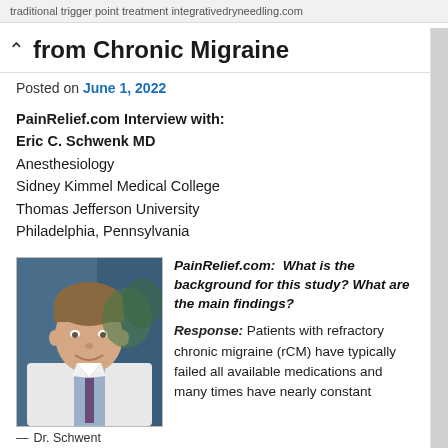traditional trigger point treatment integrativedryneedling.com
from Chronic Migraine
Posted on June 1, 2022
PainRelief.com Interview with:
Eric C. Schwenk MD
Anesthesiology
Sidney Kimmel Medical College
Thomas Jefferson University
Philadelphia, Pennsylvania
[Figure (photo): Headshot of Dr. Schwenk in white coat, smiling, with background of books/office]
— Dr. Schwent
PainRelief.com:  What is the background for this study? What are the main findings?
Response: Patients with refractory chronic migraine (rCM) have typically failed all available medications and many times have nearly constant